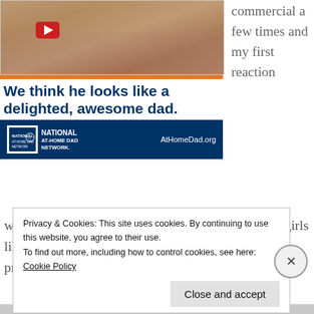[Figure (photo): Advertisement for National At-Home Dad Network showing children playing, headline 'We think he looks like a delighted, awesome dad.' with blue footer bar and AtHomeDad.org URL]
commercial a few times and my first reaction
was that it was cute to see the dad playing with his girls like that. If you're a dad with daughters, chances are pretty good that at some point you're
Privacy & Cookies: This site uses cookies. By continuing to use this website, you agree to their use.
To find out more, including how to control cookies, see here: Cookie Policy